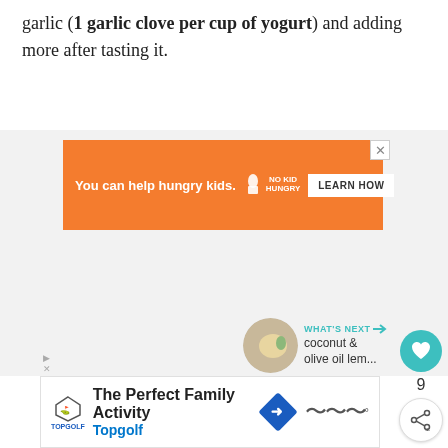garlic (1 garlic clove per cup of yogurt) and adding more after tasting it.
[Figure (screenshot): Orange banner advertisement: 'You can help hungry kids.' with No Kid Hungry logo and 'LEARN HOW' button]
[Figure (infographic): Teal circular heart/like button with count of 9 and share button below]
[Figure (infographic): What's Next panel with circular thumbnail image and text 'coconut & olive oil lem...']
[Figure (screenshot): Topgolf advertisement: 'The Perfect Family Activity Topgolf' with logo and directional icon]